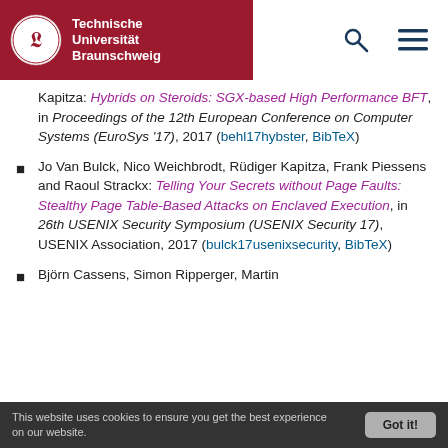[Figure (logo): Technische Universität Braunschweig logo with red background, white lion crest, and white bold text]
Kapitza: Hybrids on Steroids: SGX-based High Performance BFT, in Proceedings of the 12th European Conference on Computer Systems (EuroSys '17), 2017 (behl17hybster, BibTeX)
Jo Van Bulck, Nico Weichbrodt, Rüdiger Kapitza, Frank Piessens and Raoul Strackx: Telling Your Secrets without Page Faults: Stealthy Page Table-Based Attacks on Enclaved Execution, in 26th USENIX Security Symposium (USENIX Security 17), USENIX Association, 2017 (bulck17usenixsecurity, BibTeX)
Björn Cassens, Simon Ripperger, Martin
This website uses cookies to ensure you get the best experience on our website.